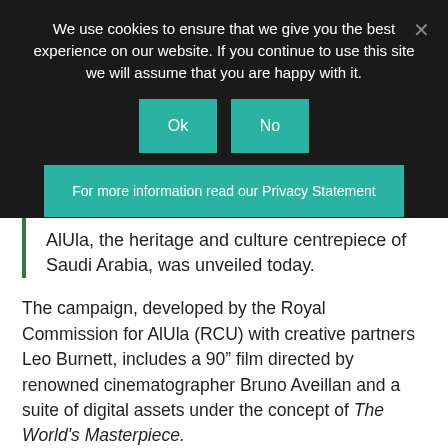We use cookies to ensure that we give you the best experience on our website. If you continue to use this site we will assume that you are happy with it.
Ok | No
For more information read our Privacy Statement
AlUla, the heritage and culture centrepiece of Saudi Arabia, was unveiled today.
The campaign, developed by the Royal Commission for AlUla (RCU) with creative partners Leo Burnett, includes a 90" film directed by renowned cinematographer Bruno Aveillan and a suite of digital assets under the concept of The World's Masterpiece.
In what is hoped will be a year of travel recovery, AlUla's new brand campaign is targeting domestic travellers and aimed at deepening the Kingdom's